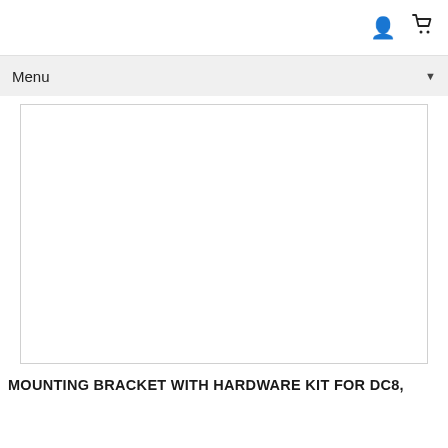User and Cart icons
Menu ▼
[Figure (photo): Large white empty product image area with light gray border, representing a mounting bracket product photo placeholder]
MOUNTING BRACKET WITH HARDWARE KIT FOR DC8,